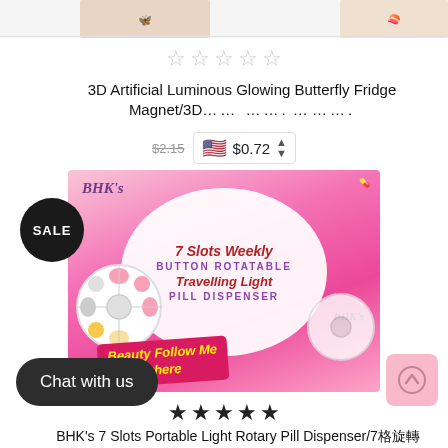[Figure (other): Two product images partially visible at top of page (butterfly fridge magnets)]
☆☆☆☆☆
3D Artificial Luminous Glowing Butterfly Fridge Magnet/3D…… ……. … ……
$2.15  🇺🇸  $0.72
[Figure (photo): BHK's 7 Slots Weekly Button Rotatable Travelling Light Pill Dispenser product image on pink background with pill dispenser carousel showing colored pills, 'Beauty Follow Me Everywhere' banner]
SALE
★★★★★
BHK's 7 Slots Portable Light Rotary Pill Dispenser/7格旋轉
Chat with us